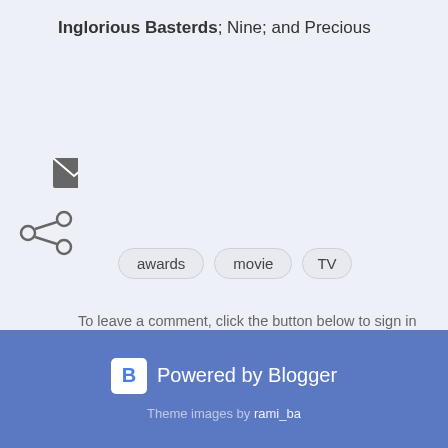Inglorious Basterds; Nine; and Precious
[Figure (illustration): Share icon (less-than style arrow) and email envelope icon]
awards
movie
TV
To leave a comment, click the button below to sign in with Google.
SIGN IN WITH GOOGLE
Powered by Blogger. Theme images by rami_ba